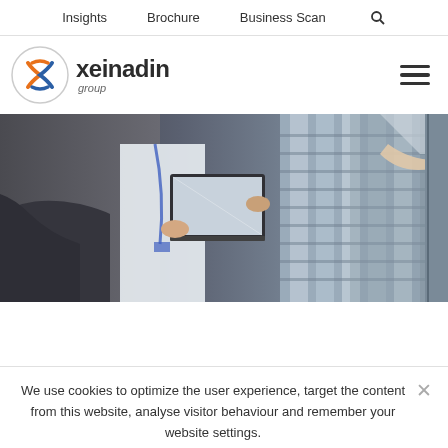Insights  Brochure  Business Scan
[Figure (logo): Xeinadin Group logo — circular icon with intertwined coloured arrows and wordmark 'xeinadin group']
[Figure (photo): Two IT professionals in a server room, one holding a laptop open while the other works on a server rack]
We use cookies to optimize the user experience, target the content from this website, analyse visitor behaviour and remember your website settings.